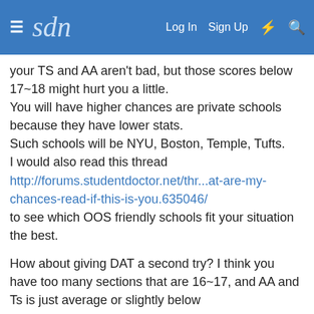sdn  Log In  Sign Up
your TS and AA aren't bad, but those scores below 17~18 might hurt you a little.
You will have higher chances are private schools because they have lower stats.
Such schools will be NYU, Boston, Temple, Tufts.
I would also read this thread
http://forums.studentdoctor.net/thr...at-are-my-chances-read-if-this-is-you.635046/
to see which OOS friendly schools fit your situation the best.
How about giving DAT a second try? I think you have too many sections that are 16~17, and AA and Ts is just average or slightly below
but on a second thought, your stellar GPA might make up for the low-ish DAT scores..
It's really up to you, but if I were you, I'd feel a little insecure and sign up for another DAT date as soon as possible.